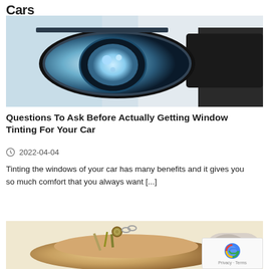Cars
[Figure (photo): Close-up photo of a white car headlight with blue tinted light, black door visible on the right]
Questions To Ask Before Actually Getting Window Tinting For Your Car
2022-04-04
Tinting the windows of your car has many benefits and it gives you so much comfort that you always want [...]
[Figure (photo): Photo of a hand holding car keys with a key chain, close-up shot]